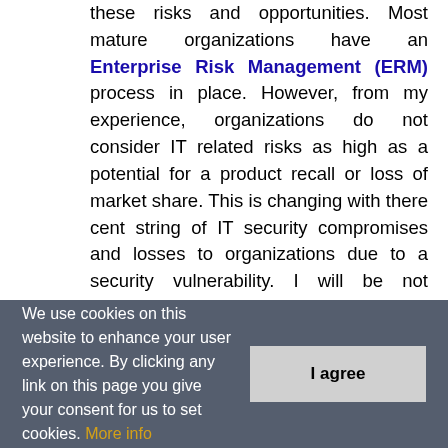these risks and opportunities. Most mature organizations have an Enterprise Risk Management (ERM) process in place. However, from my experience, organizations do not consider IT related risks as high as a potential for a product recall or loss of market share. This is changing with there cent string of IT security compromises and losses to organizations due to a security vulnerability. I will be not surprised if IT Risk makes it to the top five ERM risks in any organization. Now to the opportunities, for IT as an organization opportunity exists in the development of Artificial Intelligence, big data analytics, and other new trends. By having these technologies and ideas
We use cookies on this website to enhance your user experience. By clicking any link on this page you give your consent for us to set cookies. More info